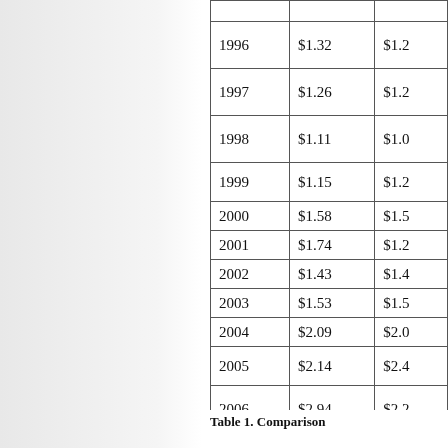| Year | Nominal Price | Adjusted Price |
| --- | --- | --- |
| 1996 | $1.32 | $1.2... |
| 1997 | $1.26 | $1.2... |
| 1998 | $1.11 | $1.0... |
| 1999 | $1.15 | $1.2... |
| 2000 | $1.58 | $1.5... |
| 2001 | $1.74 | $1.2... |
| 2002 | $1.43 | $1.4... |
| 2003 | $1.53 | $1.5... |
| 2004 | $2.09 | $2.0... |
| 2005 | $2.14 | $2.4... |
| 2006 | $2.94 | $2.2... |
| 2007 | $3.25 | $3.0... |
| 2008 | $3.99 | ? |
Table 1. Comparison